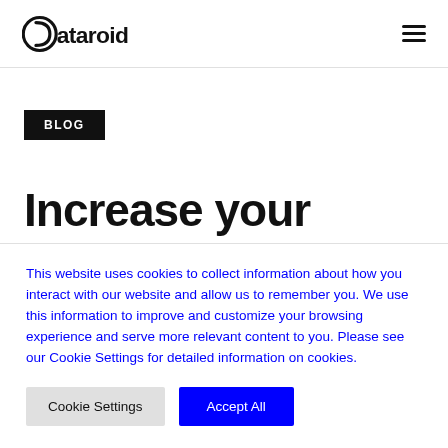Dataroid
BLOG
Increase your
This website uses cookies to collect information about how you interact with our website and allow us to remember you. We use this information to improve and customize your browsing experience and serve more relevant content to you. Please see our Cookie Settings for detailed information on cookies.
Cookie Settings  Accept All